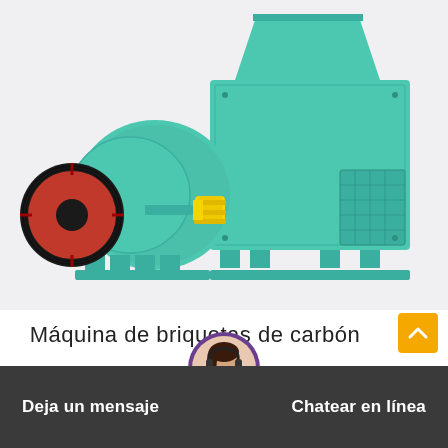[Figure (photo): Industrial coal briquette machine (briquetting press) painted in teal/turquoise green with a black and red pulley wheel on the left and yellow coupling in the center, shown on a light gray background.]
Máquina de briquetas de carbón
Deja un mensaje
Chatear en línea